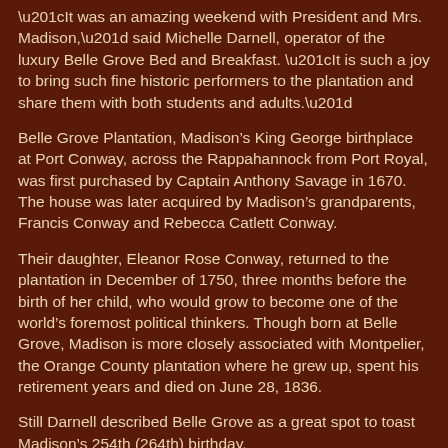“It was an amazing weekend with President and Mrs. Madison,” said Michelle Darnell, operator of the luxury Belle Grove Bed and Breakfast. “It is such a joy to bring such fine historic performers to the plantation and share them with both students and adults.”
Belle Grove Plantation, Madison’s King George birthplace at Port Conway, across the Rappahannock from Port Royal, was first purchased by Captain Anthony Savage in 1670. The house was later acquired by Madison’s grandparents, Francis Conway and Rebecca Catlett Conway.
Their daughter, Eleanor Rose Conway, returned to the plantation in December of 1750, three months before the birth of her child, who would grow to become one of the world’s foremost political thinkers. Though born at Belle Grove, Madison is more closely associated with Montpelier, the Orange County plantation where he grew up, spent his retirement years and died on June 28, 1836.
Still Darnell described Belle Grove as a great spot to toast Madison’s 254th (264th) birthday.
“Where better to celebrate James Madison than at the plantation where he drew his first breath?” she said.